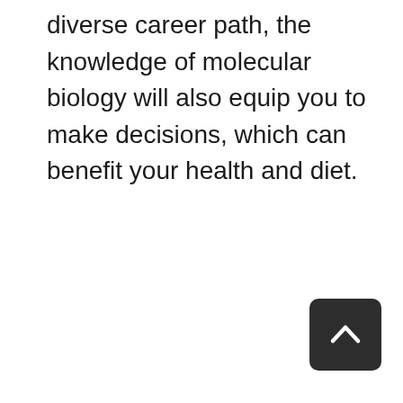diverse career path, the knowledge of molecular biology will also equip you to make decisions, which can benefit your health and diet.
[Figure (other): Back to top button — dark rounded square with a white upward chevron arrow]